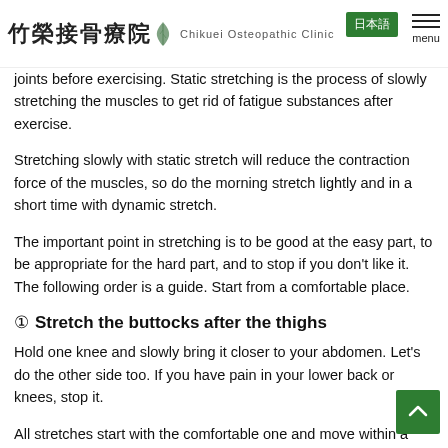竹榮接骨療院 Chikuei Osteopathic Clinic
joints before exercising. Static stretching is the process of slowly stretching the muscles to get rid of fatigue substances after exercise.
Stretching slowly with static stretch will reduce the contraction force of the muscles, so do the morning stretch lightly and in a short time with dynamic stretch.
The important point in stretching is to be good at the easy part, to be appropriate for the hard part, and to stop if you don't like it. The following order is a guide. Start from a comfortable place.
① Stretch the buttocks after the thighs
Hold one knee and slowly bring it closer to your abdomen. Let's do the other side too. If you have pain in your lower back or knees, stop it.
All stretches start with the comfortable one and move within a